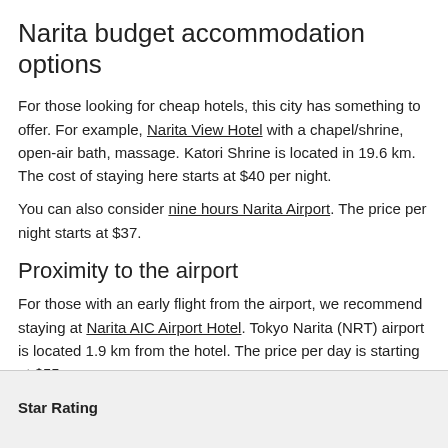Narita budget accommodation options
For those looking for cheap hotels, this city has something to offer. For example, Narita View Hotel with a chapel/shrine, open-air bath, massage. Katori Shrine is located in 19.6 km. The cost of staying here starts at $40 per night.
You can also consider nine hours Narita Airport. The price per night starts at $37.
Proximity to the airport
For those with an early flight from the airport, we recommend staying at Narita AIC Airport Hotel. Tokyo Narita (NRT) airport is located 1.9 km from the hotel. The price per day is starting at $55.
You can also book Narita Airport Rest House hotel which is 393 m from the airport.
Star Rating